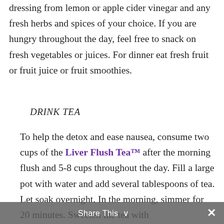dressing from lemon or apple cider vinegar and any fresh herbs and spices of your choice. If you are hungry throughout the day, feel free to snack on fresh vegetables or juices. For dinner eat fresh fruit or fruit juice or fruit smoothies.
DRINK TEA
To help the detox and ease nausea, consume two cups of the Liver Flush Tea™ after the morning flush and 5-8 cups throughout the day. Fill a large pot with water and add several tablespoons of tea. Let soak overnight. In the morning, simmer for 20 minutes. Sweeten the tea with
Share This ∨ ✕